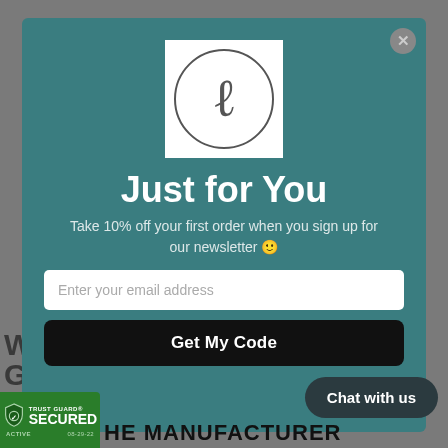[Figure (screenshot): Modal popup with teal background showing a brand logo (cursive L in a circle on white background), 'Just for You' heading, newsletter signup text, email input field, Get My Code button, and Chat with us button overlay]
Just for You
Take 10% off your first order when you sign up for our newsletter 🙂
Enter your email address
Get My Code
Chat with us
[Figure (logo): Trust Guard SECURED ACTIVE 08-29-22 badge in green]
HE MANUFACTURER